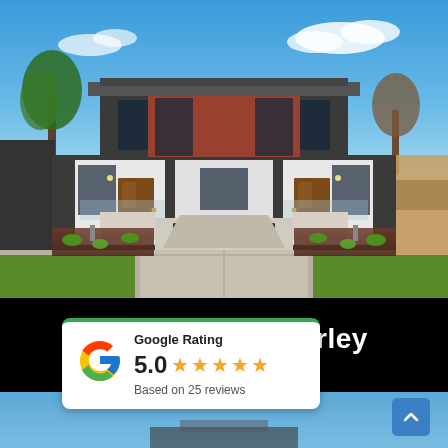[Figure (photo): Exterior photograph of a modern two-storey duplex home with dark grey, white and terracotta/rust-coloured cladding, timber front doors, glass balustrades, and landscaped front garden with gravel pathway and a central garage door.]
en Waverley
[Figure (infographic): Google Rating widget card showing rating of 5.0 with 5 orange stars, 'Based on 25 reviews' text, and multicolour Google G logo. Green bar at top of card.]
[Figure (photo): Partial view of another property photo visible at the bottom of the page.]